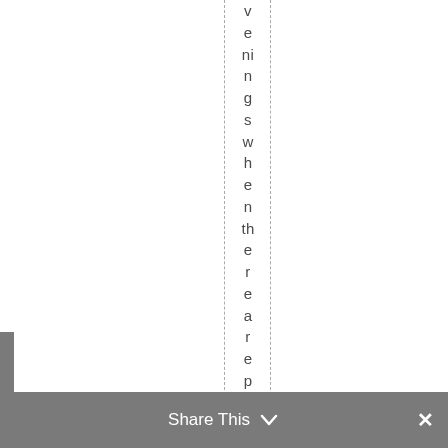venings when there are performa n
Share This ∨  ×